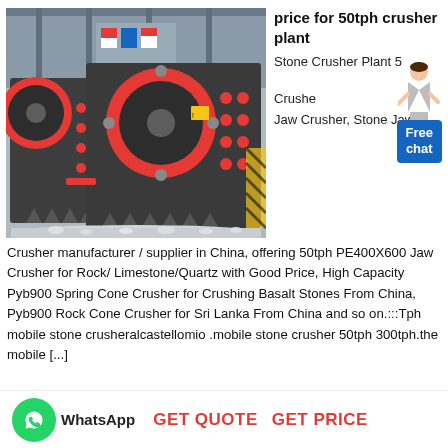[Figure (photo): Industrial jaw crushers in a factory setting, large red and dark grey machines with red circular flywheels, displayed in a manufacturing facility with flags in the background]
price for 50tph crusher plant
Stone Crusher Plant 50tph Crusher Jaw Crusher, Stone Jaw Crusher manufacturer / supplier in China, offering 50tph PE400X600 Jaw Crusher for Rock/ Limestone/Quartz with Good Price, High Capacity Pyb900 Spring Cone Crusher for Crushing Basalt Stones From China, Pyb900 Rock Cone Crusher for Sri Lanka From China and so on.:::Tph mobile stone crusheralcastellomio .mobile stone crusher 50tph 300tph.the mobile [...]
Free chat
WhatsApp
GET QUOTE   GET PRICE